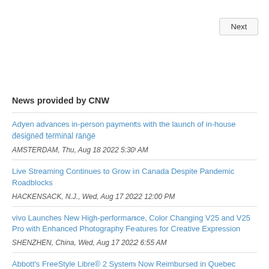Next
News provided by CNW
Adyen advances in-person payments with the launch of in-house designed terminal range
AMSTERDAM, Thu, Aug 18 2022 5:30 AM
Live Streaming Continues to Grow in Canada Despite Pandemic Roadblocks
HACKENSACK, N.J., Wed, Aug 17 2022 12:00 PM
vivo Launches New High-performance, Color Changing V25 and V25 Pro with Enhanced Photography Features for Creative Expression
SHENZHEN, China, Wed, Aug 17 2022 6:55 AM
Abbott's FreeStyle Libre® 2 System Now Reimbursed in Quebec